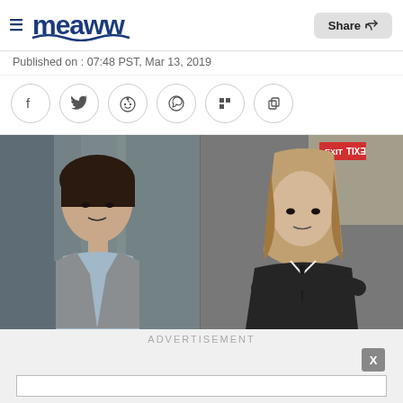Meaww — Share
Published on : 07:48 PST, Mar 13, 2019
[Figure (screenshot): Social sharing icons: Facebook, Twitter, Reddit, WhatsApp, Flipboard, Copy link]
[Figure (photo): Side-by-side still images from a TV show — left: Asian woman in grey blazer and light blue shirt; right: woman with long hair in dark suit with EXIT sign visible in background]
ADVERTISEMENT